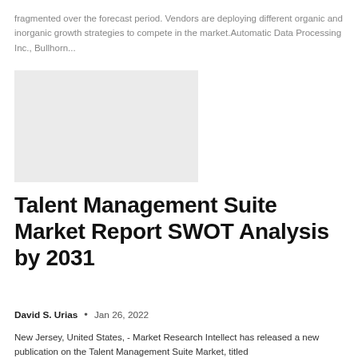fragmented over the forecast period. Vendors are deploying different organic and inorganic growth strategies to compete in the market.Automatic Data Processing Inc., Bullhorn...
[Figure (other): Light gray placeholder image block]
Talent Management Suite Market Report SWOT Analysis by 2031
David S. Urias  •  Jan 26, 2022
New Jersey, United States, - Market Research Intellect has released a new publication on the Talent Management Suite Market, titled